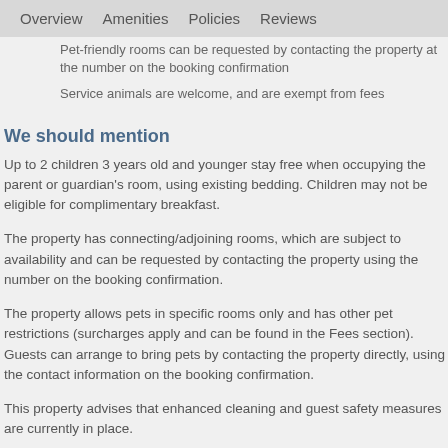Overview   Amenities   Policies   Reviews
Pet-friendly rooms can be requested by contacting the property at the number on the booking confirmation
Service animals are welcome, and are exempt from fees
We should mention
Up to 2 children 3 years old and younger stay free when occupying the parent or guardian's room, using existing bedding. Children may not be eligible for complimentary breakfast.
The property has connecting/adjoining rooms, which are subject to availability and can be requested by contacting the property using the number on the booking confirmation.
The property allows pets in specific rooms only and has other pet restrictions (surcharges apply and can be found in the Fees section). Guests can arrange to bring pets by contacting the property directly, using the contact information on the booking confirmation.
This property advises that enhanced cleaning and guest safety measures are currently in place.